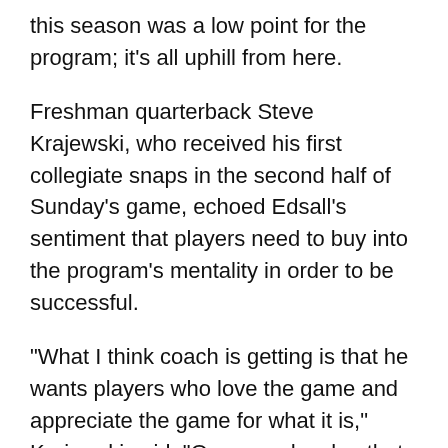this season was a low point for the program; it's all uphill from here.
Freshman quarterback Steve Krajewski, who received his first collegiate snaps in the second half of Sunday's game, echoed Edsall's sentiment that players need to buy into the program's mentality in order to be successful.
“What I think coach is getting is that he wants players who love the game and appreciate the game for what it is,” Krajewski said. “Once we develop that mental aspect around the whole team and get everyone involved and people start buying into that passion, we’ll be good to go.”
The old adage is that hard work beats talent when talent doesn’t work hard. If there’s any hope for UConn going forward, they better hope that it’s true.